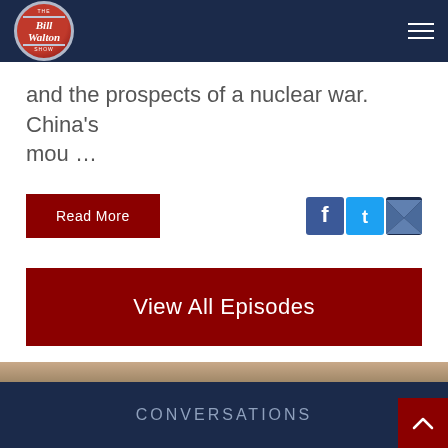The Bill Walton Show
and the prospects of a nuclear war. China's mou …
Read More
[Figure (logo): Facebook, Twitter, and Email share icons]
View All Episodes
CONVERSATIONS